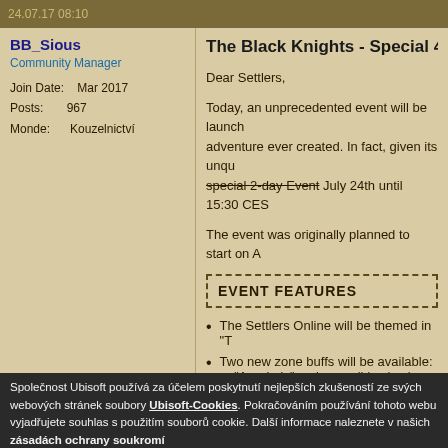24.07.17 08:10
BB_Sious
Community Manager
Join Date: Mar 2017
Posts: 967
Monde: Kouzelnictví
The Black Knights - Special 48 Hou...
Dear Settlers,
Today, an unprecedented event will be launched: the biggest adventure ever created. In fact, given its unqu... [strikethrough: special 2-day Event] July 24th until 15:30 CES
The event was originally planned to start on A...
EVENT FEATURES
The Settlers Online will be themed in "T...
Two new zone buffs will be available:
- "Accolade" replaces wild animals with...
- "255 Shades of Black" removes all col...
A mysterious "Black Box" will be availa...
Společnost Ubisoft používá za účelem poskytnutí nejlepších zkušeností ze svých webových stránek soubory Ubisoft-Cookies. Pokračováním používání tohoto webu vyjadřujete souhlas s použitím souborů cookie. Další informace naleznete v našich zásadách ochrany soukromí.